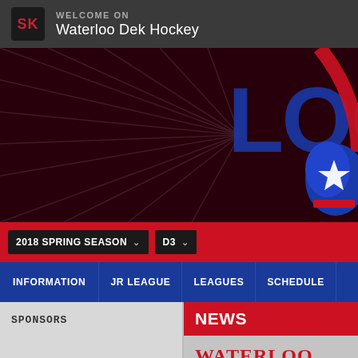WELCOME ON
Waterloo Dek Hockey
[Figure (screenshot): Waterloo Dek Hockey hero banner with dark red background, light ray graphics, large blue letters 'LOO' and a blue hockey glove with white star burst on the right side]
2018 SPRING SEASON  ∨    D3  ∨
INFORMATION    JR LEAGUE    LEAGUES    SCHEDULE
SPONSORS
NEWS
WATERLOO DEKHOCKE
2021 Season Divisions & Restrictio